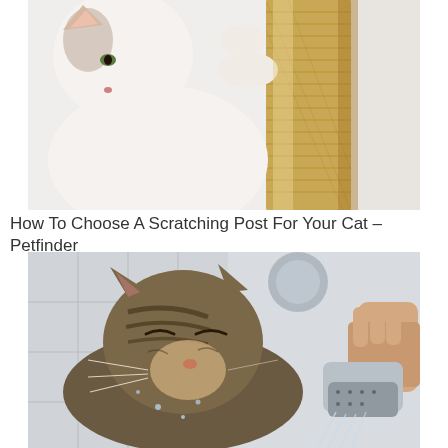[Figure (photo): A cat clinging to a rope/sisal scratching post, white and tabby cat with paws wrapped around a cylindrical sisal-wrapped post against a white background.]
How To Choose A Scratching Post For Your Cat – Petfinder
[Figure (photo): A wet tabby cat being bathed with a shower head/spray nozzle, cat has eyes closed, being held against a tiled bathroom wall. A human hand holds a metal shower head spraying water.]